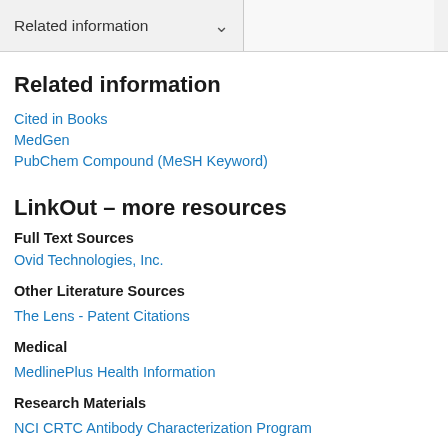Related information
Related information
Cited in Books
MedGen
PubChem Compound (MeSH Keyword)
LinkOut – more resources
Full Text Sources
Ovid Technologies, Inc.
Other Literature Sources
The Lens - Patent Citations
Medical
MedlinePlus Health Information
Research Materials
NCI CRTC Antibody Characterization Program